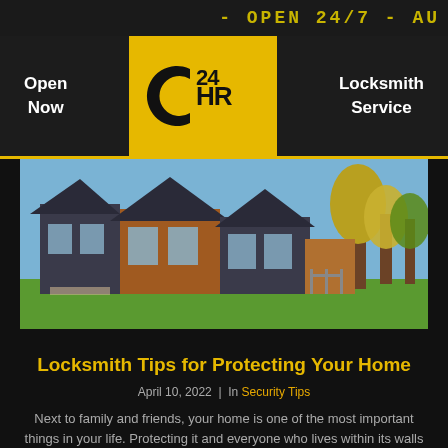- OPEN 24/7 - AU
Open Now
[Figure (logo): 24HR locksmith logo with stylized C and 24HR text in black on yellow/gold background]
Locksmith Service
[Figure (photo): Modern suburban houses with large windows, wood and dark metal cladding, surrounded by green lawn and autumn trees]
Locksmith Tips for Protecting Your Home
April 10, 2022  |  In Security Tips
Next to family and friends, your home is one of the most important things in your life. Protecting it and everyone who lives within its walls is ...